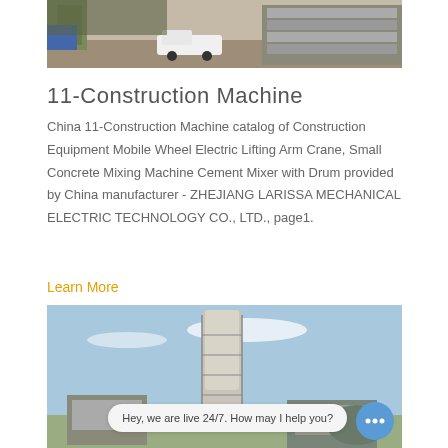[Figure (photo): Construction site with machinery, a white pickup truck, and stacked materials on a dirt lot]
11-Construction Machine
China 11-Construction Machine catalog of Construction Equipment Mobile Wheel Electric Lifting Arm Crane, Small Concrete Mixing Machine Cement Mixer with Drum provided by China manufacturer - ZHEJIANG LARISSA MECHANICAL ELECTRIC TECHNOLOGY CO., LTD., page1.
Learn More
[Figure (photo): Concrete mixing plant with a tall silo structure against a blue sky, with mixing equipment visible at the bottom]
Hey, we are live 24/7. How may I help you?